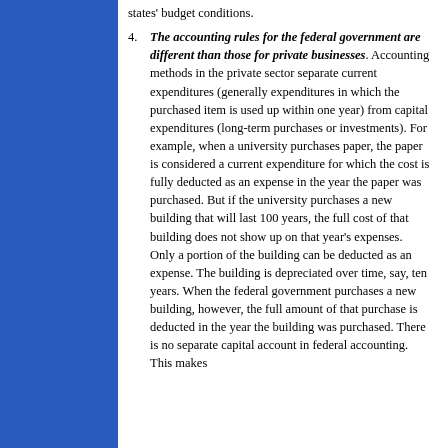states' budget conditions.
The accounting rules for the federal government are different than those for private businesses. Accounting methods in the private sector separate current expenditures (generally expenditures in which the purchased item is used up within one year) from capital expenditures (long-term purchases or investments). For example, when a university purchases paper, the paper is considered a current expenditure for which the cost is fully deducted as an expense in the year the paper was purchased. But if the university purchases a new building that will last 100 years, the full cost of that building does not show up on that year's expenses. Only a portion of the building can be deducted as an expense. The building is depreciated over time, say, ten years. When the federal government purchases a new building, however, the full amount of that purchase is deducted in the year the building was purchased. There is no separate capital account in federal accounting. This makes